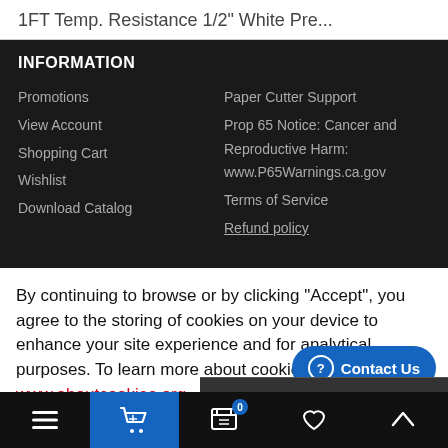1FT Temp. Resistance 1/2" White Pre...
INFORMATION
Promotions
View Account
Shopping Cart
Wishlist
Download Catalog
Paper Cutter Support
Prop 65 Notice: Cancer and Reproductive Harm: www.P65Warnings.ca.gov
Terms of Service
Refund policy
By continuing to browse or by clicking "Accept", you agree to the storing of cookies on your device to enhance your site experience and for analytical purposes. To learn more about cookies, please visit www.aboutcookies.org